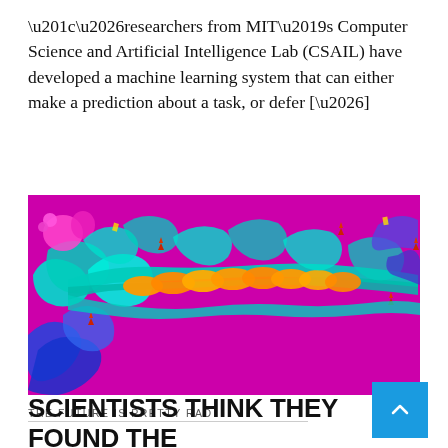“…researchers from MIT’s Computer Science and Artificial Intelligence Lab (CSAIL) have developed a machine learning system that can either make a prediction about a task, or defer […]
[Figure (photo): 3D molecular/protein structure visualization with cyan/teal ribbon structure and orange helical regions against a bright magenta/pink background, with blue structures visible in the lower left corner and red molecular markers]
THE FUTURE IS PRETTY RAD
SCIENTISTS THINK THEY FOUND THE CORONAVIRUS’ WEAKSPOT